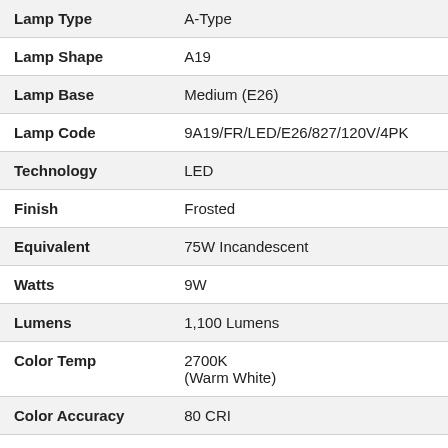| Property | Value |
| --- | --- |
| Lamp Type | A-Type |
| Lamp Shape | A19 |
| Lamp Base | Medium (E26) |
| Lamp Code | 9A19/FR/LED/E26/827/120V/4PK |
| Technology | LED |
| Finish | Frosted |
| Equivalent | 75W Incandescent |
| Watts | 9W |
| Lumens | 1,100 Lumens |
| Color Temp | 2700K
(Warm White) |
| Color Accuracy | 80 CRI |